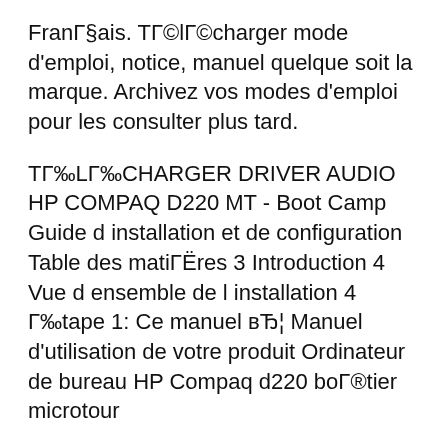FranΓ§ais. TΓ©lΓ©charger mode d'emploi, notice, manuel quelque soit la marque. Archivez vos modes d'emploi pour les consulter plus tard.
TΓ‰LΓ‰CHARGER DRIVER AUDIO HP COMPAQ D220 MT - Boot Camp Guide d installation et de configuration Table des matiΓËres 3 Introduction 4 Vue d ensemble de l installation 4 Γ‰tape 1: Ce manuel вЂ¦ Manuel d'utilisation de votre produit Ordinateur de bureau HP Compaq d220 boΓ®tier microtour
TΓ‰LΓ‰CHARGER DRIVER AUDIO HP COMPAQ D220 MT GRATUITEMENT - Bonjour, je cherche le pilote Son de mon ordinateur de bureau, quelqu'un a t il le lien,